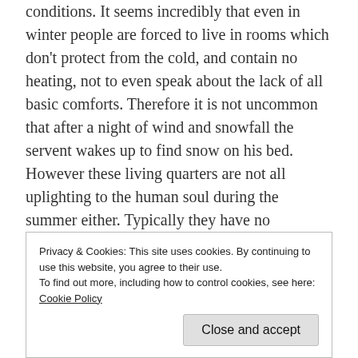conditions. It seems incredibly that even in winter people are forced to live in rooms which don't protect from the cold, and contain no heating, not to even speak about the lack of all basic comforts. Therefore it is not uncommon that after a night of wind and snowfall the servent wakes up to find snow on his bed. However these living quarters are not all uplighting to the human soul during the summer either. Typically they have no windows, only a trap-door. Often they are built next to the manure storage, on top of store rooms were all sorts of gargage is held, and where dust and bad smelling air seeps through the loose floor boards... Living in these
Privacy & Cookies: This site uses cookies. By continuing to use this website, you agree to their use.
To find out more, including how to control cookies, see here: Cookie Policy
Close and accept